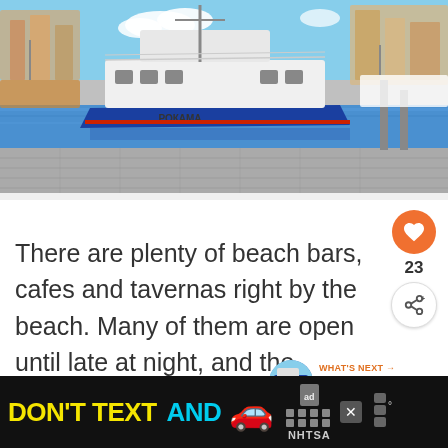[Figure (photo): A blue and white fishing/commercial boat named РОКАМА docked at a marina with buildings and other boats in the background, viewed from a paved dock area.]
There are plenty of beach bars, cafes and tavernas right by the beach. Many of them are open until late at night, and the nightlife is quite intense.
[Figure (infographic): WHAT'S NEXT arrow label with thumbnail image and text: The best things to do ...]
[Figure (infographic): DON'T TEXT AND [car emoji] advertisement banner for NHTSA with ad label and weather widget showing temperature.]